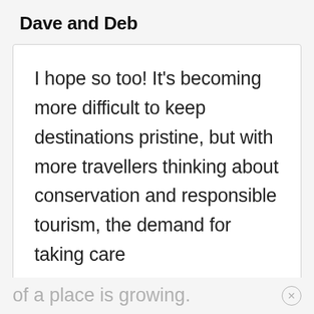Dave and Deb
I hope so too! It’s becoming more difficult to keep destinations pristine, but with more travellers thinking about conservation and responsible tourism, the demand for taking care
of a place is growing.